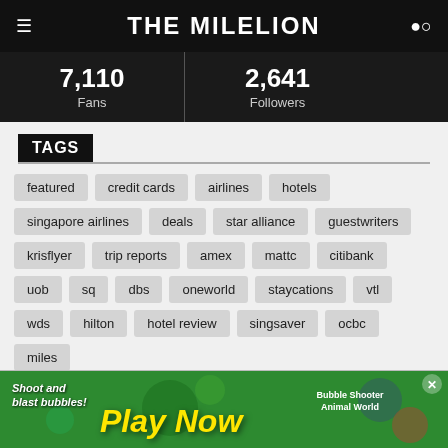THE MILELION
| Fans | Followers |
| --- | --- |
| 7,110 | 2,641 |
TAGS
featured
credit cards
airlines
hotels
singapore airlines
deals
star alliance
guestwriters
krisflyer
trip reports
amex
mattc
citibank
uob
sq
dbs
oneworld
staycations
vtl
wds
hilton
hotel review
singsaver
ocbc
miles
[Figure (screenshot): Mobile game advertisement: 'Shoot and blast bubbles! Play Now - Bubble Shooter Animal World']